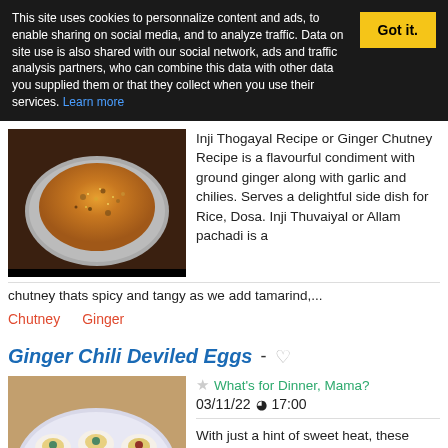This site uses cookies to personnalize content and ads, to enable sharing on social media, and to analyze traffic. Data on site use is also shared with our social network, ads and traffic analysis partners, who can combine this data with other data you supplied them or that they collect when you use their services. Learn more
Inji Thogayal Recipe or Ginger Chutney Recipe is a flavourful condiment with ground ginger along with garlic and chilies. Serves a delightful side dish for Rice, Dosa. Inji Thuvaiyal or Allam pachadi is a chutney thats spicy and tangy as we add tamarind,...
Chutney
Ginger
Ginger Chili Deviled Eggs
What's for Dinner, Mama?
03/11/22 17:00
With just a hint of sweet heat, these delectable Ginger Chili Deviled Eggs are perfect for any gathering. Use our easy garnish ideas to have them party ready in minutes! What's the...